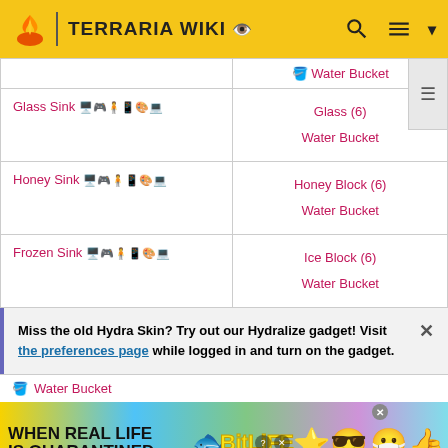TERRARIA WIKI
| Item | Ingredients |
| --- | --- |
| Water Bucket |  |
| Glass Sink 🖥️🎮🧍📱🎨💻 | Glass (6)
Water Bucket |
| Honey Sink 🖥️🎮🧍📱🎨💻 | Honey Block (6)
Water Bucket |
| Frozen Sink 🖥️🎮🧍📱🎨💻 | Ice Block (6)
Water Bucket |
Miss the old Hydra Skin? Try out our Hydralize gadget! Visit the preferences page while logged in and turn on the gadget.
Water Bucket
[Figure (infographic): BitLife advertisement banner with rainbow background, text WHEN REAL LIFE IS QUARANTINED, BitLife logo, and cartoon characters]